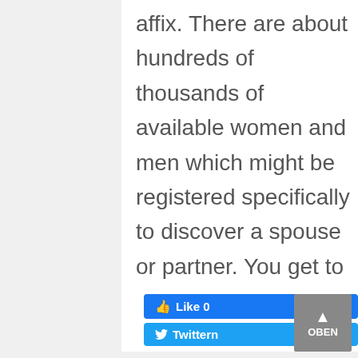affix. There are about hundreds of thousands of available women and men which might be registered specifically to discover a spouse or partner. You get to speak, video call and prepare appointments with the girls.
[Figure (other): Facebook Like button showing 'Like 0' and a Twitter share button labeled 'Twittern', plus a grey 'OBEN' scroll-to-top button in the bottom right corner]